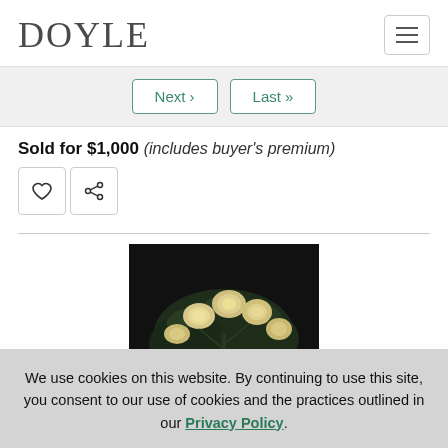DOYLE
Next › Last »
Sold for $1,000 (includes buyer's premium)
[Figure (photo): Painting of pale yellow/cream roses against a dark background]
We use cookies on this website. By continuing to use this site, you consent to our use of cookies and the practices outlined in our Privacy Policy.